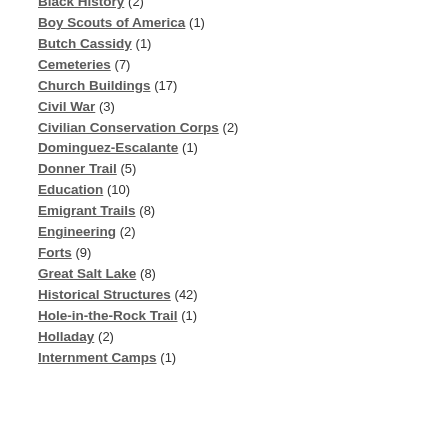Black History (2)
Boy Scouts of America (1)
Butch Cassidy (1)
Cemeteries (7)
Church Buildings (17)
Civil War (3)
Civilian Conservation Corps (2)
Dominguez-Escalante (1)
Donner Trail (5)
Education (10)
Emigrant Trails (8)
Engineering (2)
Forts (9)
Great Salt Lake (8)
Historical Structures (42)
Hole-in-the-Rock Trail (1)
Holladay (2)
Internment Camps (1)